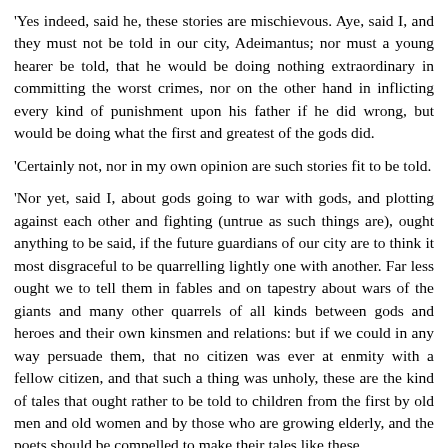'Yes indeed, said he, these stories are mischievous. Aye, said I, and they must not be told in our city, Adeimantus; nor must a young hearer be told, that he would be doing nothing extraordinary in committing the worst crimes, nor on the other hand in inflicting every kind of punishment upon his father if he did wrong, but would be doing what the first and greatest of the gods did.
'Certainly not, nor in my own opinion are such stories fit to be told.
'Nor yet, said I, about gods going to war with gods, and plotting against each other and fighting (untrue as such things are), ought anything to be said, if the future guardians of our city are to think it most disgraceful to be quarrelling lightly one with another. Far less ought we to tell them in fables and on tapestry about wars of the giants and many other quarrels of all kinds between gods and heroes and their own kinsmen and relations: but if we could in any way persuade them, that no citizen was ever at enmity with a fellow citizen, and that such a thing was unholy, these are the kind of tales that ought rather to be told to children from the first by old men and old women and by those who are growing elderly, and the poets should be compelled to make their tales like these.
'The chaining too of Hera by her son, and the hurling of Hephaestus out of heaven by his father, when he was going to defend his mother from a beating, and all the battles of the gods